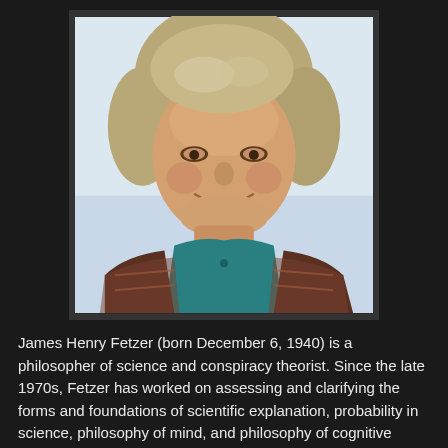[Figure (photo): Portrait photo of James Henry Fetzer, a middle-aged man with gray-blond hair, smiling, wearing a plaid flannel shirt over a teal polo shirt, photographed against a light blue-white background.]
James Henry Fetzer (born December 6, 1940) is a philosopher of science and conspiracy theorist. Since the late 1970s, Fetzer has worked on assessing and clarifying the forms and foundations of scientific explanation, probability in science, philosophy of mind, and philosophy of cognitive science, especially artificial